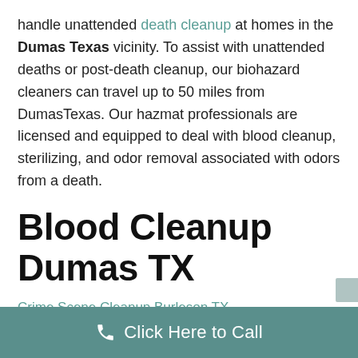handle unattended death cleanup at homes in the Dumas Texas vicinity. To assist with unattended deaths or post-death cleanup, our biohazard cleaners can travel up to 50 miles from DumasTexas. Our hazmat professionals are licensed and equipped to deal with blood cleanup, sterilizing, and odor removal associated with odors from a death.
Blood Cleanup Dumas TX
Crime Scene Cleanup Burleson TX
Crime Scene Cleanup Dumas TX
Crime Scene Cleanup Mansfield TX
Click Here to Call